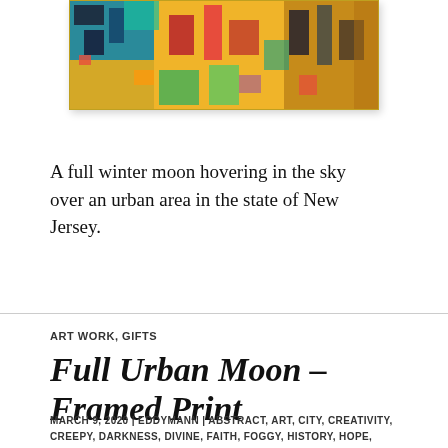[Figure (illustration): Colorful abstract artwork — a wide horizontal framed print showing an urban scene with bold colors: yellow, red, teal, green, and dark geometric shapes suggesting a city.]
A full winter moon hovering in the sky over an urban area in the state of New Jersey.
ART WORK, GIFTS
Full Urban Moon – Framed Print
MARCH 9, 2020 | EDDYMANN | ABSTRACT, ART, CITY, CREATIVITY, CREEPY, DARKNESS, DIVINE, FAITH, FOGGY, HISTORY, HOPE, INSPIRATION, LIFE, LIFESTYLE,